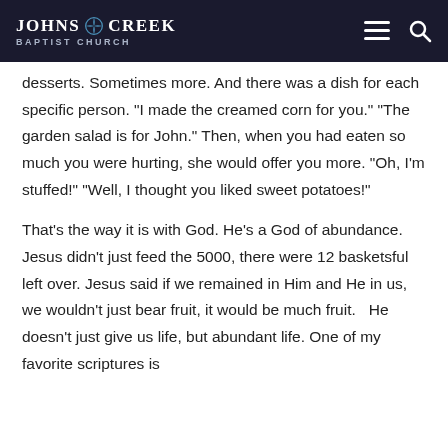Johns Creek Baptist Church
desserts. Sometimes more. And there was a dish for each specific person. “I made the creamed corn for you.” “The garden salad is for John.” Then, when you had eaten so much you were hurting, she would offer you more. “Oh, I’m stuffed!” “Well, I thought you liked sweet potatoes!”
That’s the way it is with God. He’s a God of abundance. Jesus didn’t just feed the 5000, there were 12 basketsful left over. Jesus said if we remained in Him and He in us, we wouldn’t just bear fruit, it would be much fruit.   He doesn’t just give us life, but abundant life. One of my favorite scriptures is